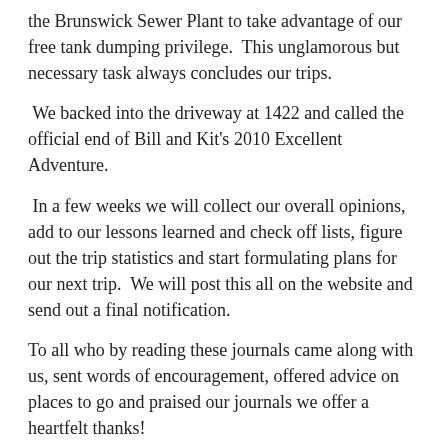the Brunswick Sewer Plant to take advantage of our free tank dumping privilege.  This unglamorous but necessary task always concludes our trips.
We backed into the driveway at 1422 and called the official end of Bill and Kit's 2010 Excellent Adventure.
In a few weeks we will collect our overall opinions, add to our lessons learned and check off lists, figure out the trip statistics and start formulating plans for our next trip.  We will post this all on the website and send out a final notification.
To all who by reading these journals came along with us, sent words of encouragement, offered advice on places to go and praised our journals we offer a heartfelt thanks!
To the strangers we met along the way that offered friendship, opened their homes and took a genuine interest in our lives we say thanks to you as well.